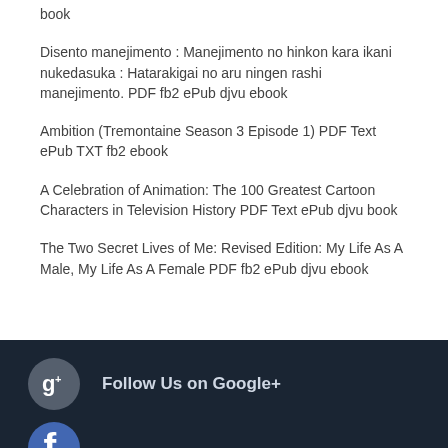book
Disento manejimento : Manejimento no hinkon kara ikani nukedasuka : Hatarakigai no aru ningen rashi manejimento. PDF fb2 ePub djvu ebook
Ambition (Tremontaine Season 3 Episode 1) PDF Text ePub TXT fb2 ebook
A Celebration of Animation: The 100 Greatest Cartoon Characters in Television History PDF Text ePub djvu book
The Two Secret Lives of Me: Revised Edition: My Life As A Male, My Life As A Female PDF fb2 ePub djvu ebook
Follow Us on Google+